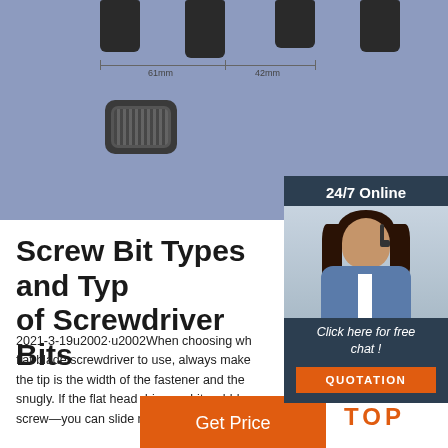[Figure (photo): Photo of screwdriver bit types with dimension indicators showing 61mm and 42mm measurements on a steel blue background, plus a USB-style port component below]
[Figure (photo): Sidebar widget showing a woman with headset, 24/7 Online label, Click here for free chat, and QUOTATION button on dark background]
Screw Bit Types and Types of Screwdriver Bits
2021-3-19u2002·u2002When choosing which flat blade screwdriver to use, always make sure the tip is the width of the fastener and the fits snugly. If the flat head driver or bit wobbles in the screw—you can slide right off the head.
[Figure (other): Get Price button in orange]
[Figure (logo): TOP logo with orange dots and orange text]